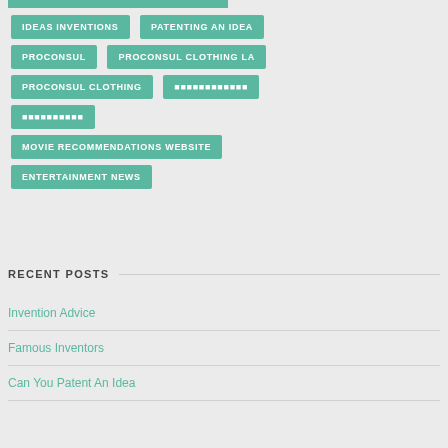IDEAS INVENTIONS
PATENTING AN IDEA
PROCONSUL
PROCONSUL CLOTHING LA
PROCONSUL CLOTHING
■■■■■■■■■■■■
■■■■■■■■■■
MOVIE RECOMMENDATIONS WEBSITE
ENTERTAINMENT NEWS
RECENT POSTS
Invention Advice
Famous Inventors
Can You Patent An Idea